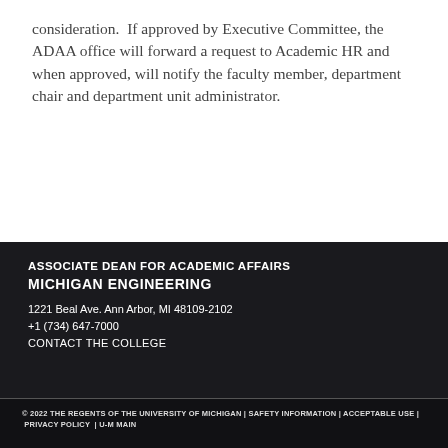consideration.  If approved by Executive Committee, the ADAA office will forward a request to Academic HR and when approved, will notify the faculty member, department chair and department unit administrator.
ASSOCIATE DEAN FOR ACADEMIC AFFAIRS
MICHIGAN ENGINEERING
1221 Beal Ave. Ann Arbor, MI 48109-2102
+1 (734) 647-7000
CONTACT THE COLLEGE
© 2022 THE REGENTS OF THE UNIVERSITY OF MICHIGAN | SAFETY INFORMATION | ACCEPTABLE USE | PRIVACY POLICY | U-M MAIN